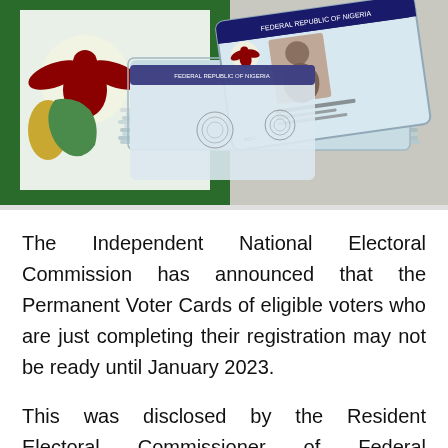[Figure (photo): A stack of Nigerian Federal Republic Permanent Voter Cards (PVCs) with the INEC logo visible on a background item. The top card shows a photo of a person and personal details. The cards are stacked in multiple layers.]
The Independent National Electoral Commission has announced that the Permanent Voter Cards of eligible voters who are just completing their registration may not be ready until January 2023.
This was disclosed by the Resident Electoral Commissioner of Federal Capital Territory, Yahaya Bello at a